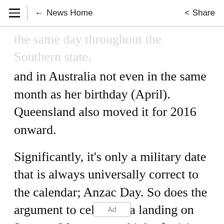≡ | ← News Home   Share
the same day throughout the Southern state, and in Australia not even in the same month as her birthday (April). Queensland also moved it for 2016 onward.
Significantly, it's only a military date that is always universally correct to the calendar; Anzac Day. So does the argument to celebrate a landing on January 26 mean we think of raising a UK flag in Sydney Cove as a military event? After all, the First Fleet was escorted by